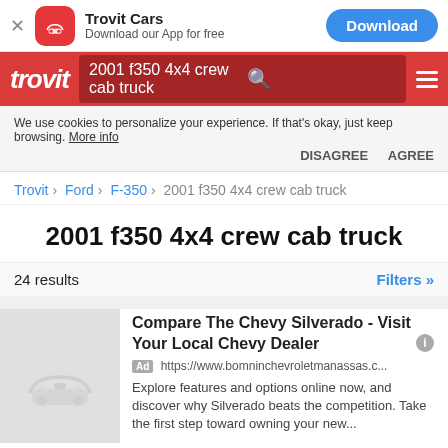[Figure (screenshot): App download banner with Trovit Cars logo, 'Download our App for free' text, and Download button]
[Figure (screenshot): Trovit red navigation bar with search box showing '2001 f350 4x4 crew cab truck']
We use cookies to personalize your experience. If that's okay, just keep browsing. More info DISAGREE AGREE
Trovit > Ford > F-350 > 2001 f350 4x4 crew cab truck
2001 f350 4x4 crew cab truck
24 results   Filters »
Compare The Chevy Silverado - Visit Your Local Chevy Dealer
Ad https://www.bomninchevroletmanassas.c...
Explore features and options online now, and discover why Silverado beats the competition. Take the first step toward owning your new...